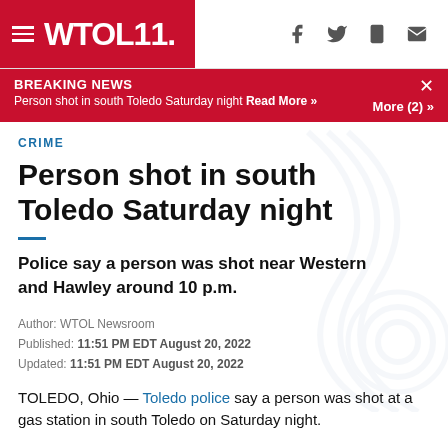WTOL 11.
BREAKING NEWS
Person shot in south Toledo Saturday night Read More »
More (2) »
CRIME
Person shot in south Toledo Saturday night
Police say a person was shot near Western and Hawley around 10 p.m.
Author: WTOL Newsroom
Published: 11:51 PM EDT August 20, 2022
Updated: 11:51 PM EDT August 20, 2022
TOLEDO, Ohio — Toledo police say a person was shot at a gas station in south Toledo on Saturday night.